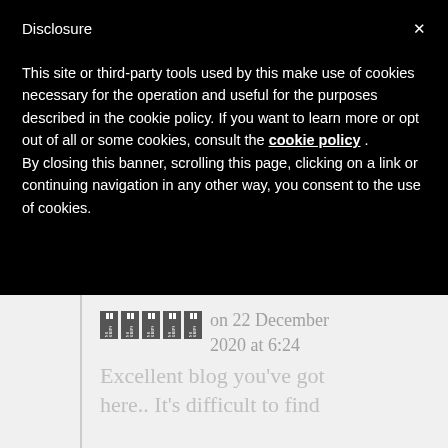Disclosure
This site or third-party tools used by this make use of cookies necessary for the operation and useful for the purposes described in the cookie policy. If you want to learn more or opt out of all or some cookies, consult the cookie policy . By closing this banner, scrolling this page, clicking on a link or continuing navigation in any other way, you consent to the use of cookies.
on 22 December 2020 at 6:24
Excellent blog you've got here.. It's difficult to find